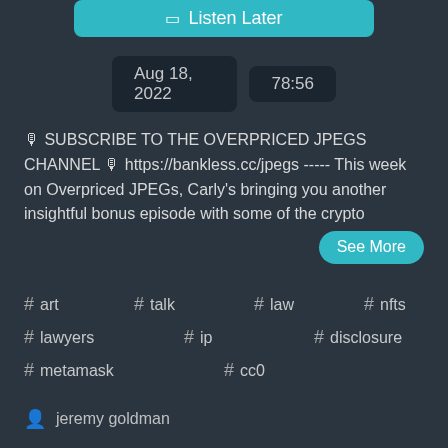Listen Later
Aug 18, 2022  78:56
🎙 SUBSCRIBE TO THE OVERPRICED JPEGS CHANNEL 🎙 https://bankless.cc/jpegs  ----- This week on Overpriced JPEGs, Carly's bringing you another insightful bonus episode with some of the crypto
See More
# art  # talk  # law  # nfts  # lawyers  # ip  # disclosure  # metamask  # cc0
jeremy goldman